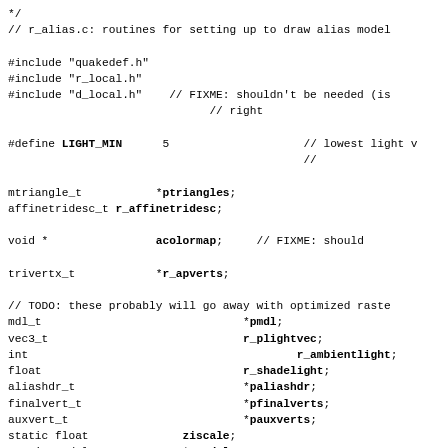*/
// r_alias.c: routines for setting up to draw alias model

#include "quakedef.h"
#include "r_local.h"
#include "d_local.h"    // FIXME: shouldn't be needed (is
                              // right

#define LIGHT_MIN      5                    // lowest light v
                                            //

mtriangle_t           *ptriangles;
affinetridesc_t r_affinetridesc;

void *                acolormap;     // FIXME: should

trivertx_t            *r_apverts;

// TODO: these probably will go away with optimized raste
mdl_t                              *pmdl;
vec3_t                             r_plightvec;
int                                        r_ambientlight;
float                              r_shadelight;
aliashdr_t                         *paliashdr;
finalvert_t                        *pfinalverts;
auxvert_t                          *pauxverts;
static float              ziscale;
static model_t            *pmodel;

static vec3_t             alias_forward, alias_right, alias